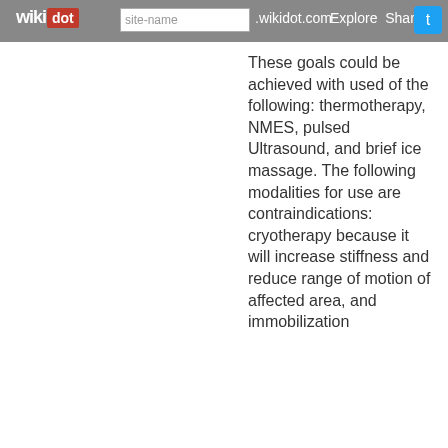wikidot | site-name .wikidot.com | Explore | Share on
These goals could be achieved with used of the following: thermotherapy, NMES, pulsed Ultrasound, and brief ice massage. The following modalities for use are contraindications: cryotherapy because it will increase stiffness and reduce range of motion of affected area, and immobilization